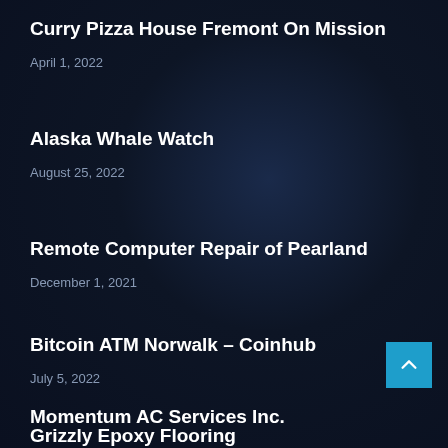Curry Pizza House Fremont On Mission
April 1, 2022
Alaska Whale Watch
August 25, 2022
Remote Computer Repair of Pearland
December 1, 2021
Bitcoin ATM Norwalk – Coinhub
July 5, 2022
Grizzly Epoxy Flooring
February 1, 2022
Momentum AC Services Inc.